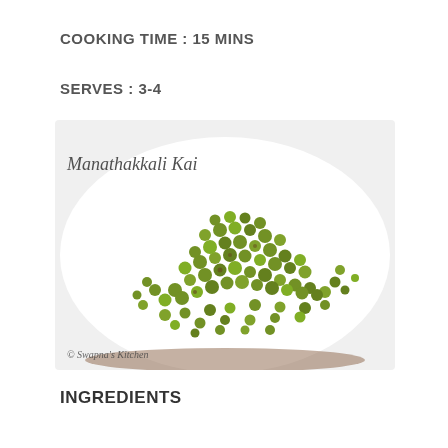COOKING TIME : 15 MINS
SERVES : 3-4
[Figure (photo): A white plate filled with small green manathakkali kai (black nightshade berries), with cursive text 'Manathakkali Kai' in the top left corner and '© Swapna's Kitchen' watermark at the bottom left.]
INGREDIENTS